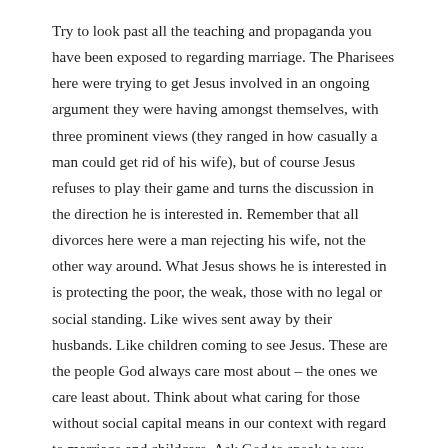Try to look past all the teaching and propaganda you have been exposed to regarding marriage. The Pharisees here were trying to get Jesus involved in an ongoing argument they were having amongst themselves, with three prominent views (they ranged in how casually a man could get rid of his wife), but of course Jesus refuses to play their game and turns the discussion in the direction he is interested in. Remember that all divorces here were a man rejecting his wife, not the other way around. What Jesus shows he is interested in is protecting the poor, the weak, those with no legal or social standing. Like wives sent away by their husbands. Like children coming to see Jesus. These are the people God always care most about – the ones we care least about. Think about what caring for those without social capital means in our context with regard to marriage and childcare. Ask God to speak to you directly about this. You might be surprised what you'll hear.
New Living Translation (NLT) Holy Bible, New